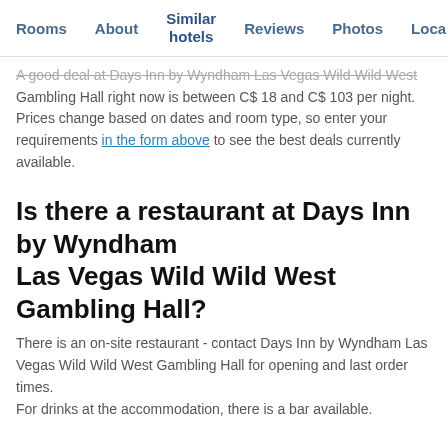Rooms  About  Similar hotels  Reviews  Photos  Loca…
A good deal at Days Inn by Wyndham Las Vegas Wild Wild West Gambling Hall right now is between C$ 18 and C$ 103 per night. Prices change based on dates and room type, so enter your requirements in the form above to see the best deals currently available.
Is there a restaurant at Days Inn by Wyndham Las Vegas Wild Wild West Gambling Hall?
There is an on-site restaurant - contact Days Inn by Wyndham Las Vegas Wild Wild West Gambling Hall for opening and last order times. For drinks at the accommodation, there is a bar available.
Does Days Inn by Wyndham Las Vegas Wild Wild West Gambling Hall have a laundry service?